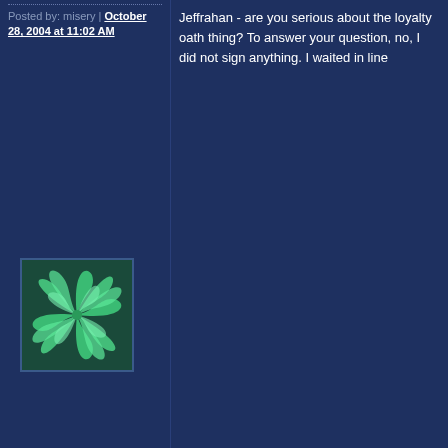Posted by: misery | October 28, 2004 at 11:02 AM
[Figure (illustration): Green spiral logo/avatar on dark background]
Jeffrahan - are you serious about the loyalty oath thing? To answer your question, no, I did not sign anything. I waited in line